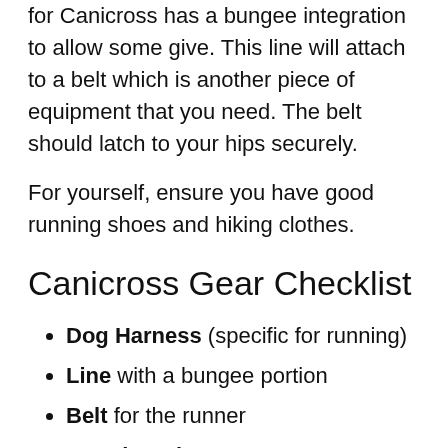for Canicross has a bungee integration to allow some give. This line will attach to a belt which is another piece of equipment that you need. The belt should latch to your hips securely.
For yourself, ensure you have good running shoes and hiking clothes.
Canicross Gear Checklist
Dog Harness (specific for running)
Line with a bungee portion
Belt for the runner
Running Shoes